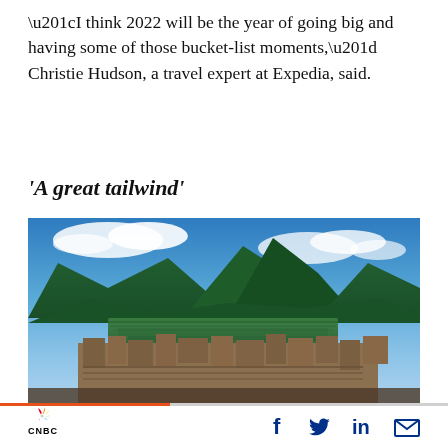“I think 2022 will be the year of going big and having some of those bucket-list moments,” Christie Hudson, a travel expert at Expedia, said.
‘A great tailwind’
[Figure (photo): Aerial view of Machu Picchu ancient Inca ruins with lush green mountain peaks and blue sky with clouds in the background]
CNBC logo with social media icons: Facebook, Twitter, LinkedIn, Email